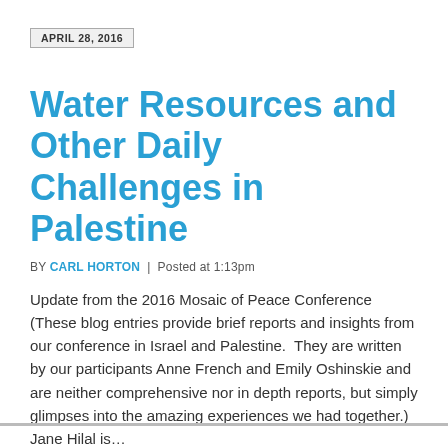APRIL 28, 2016
Water Resources and Other Daily Challenges in Palestine
BY CARL HORTON | Posted at 1:13pm
Update from the 2016 Mosaic of Peace Conference (These blog entries provide brief reports and insights from our conference in Israel and Palestine.  They are written by our participants Anne French and Emily Oshinskie and are neither comprehensive nor in depth reports, but simply glimpses into the amazing experiences we had together.) Jane Hilal is…
Read More »